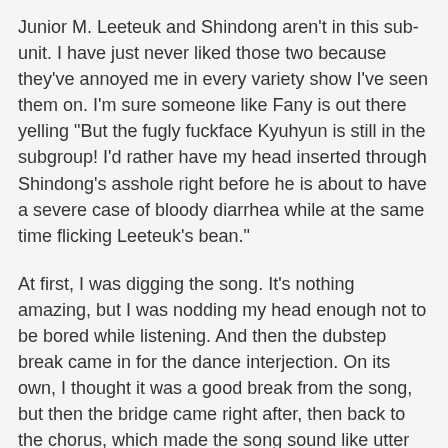Junior M. Leeteuk and Shindong aren't in this sub-unit. I have just never liked those two because they've annoyed me in every variety show I've seen them on. I'm sure someone like Fany is out there yelling "But the fugly fuckface Kyuhyun is still in the subgroup! I'd rather have my head inserted through Shindong's asshole right before he is about to have a severe case of bloody diarrhea while at the same time flicking Leeteuk's bean."
At first, I was digging the song. It's nothing amazing, but I was nodding my head enough not to be bored while listening. And then the dubstep break came in for the dance interjection. On its own, I thought it was a good break from the song, but then the bridge came right after, then back to the chorus, which made the song sound like utter shit to me right there. The structure of it was alright for the first three minutes, but the rest of it felt like it was trying to recreate the shitstorm of the 2013 trend of mashing several different genres together. It ultimately failed.
However, the biggest tragedy is Siwon's mustache.